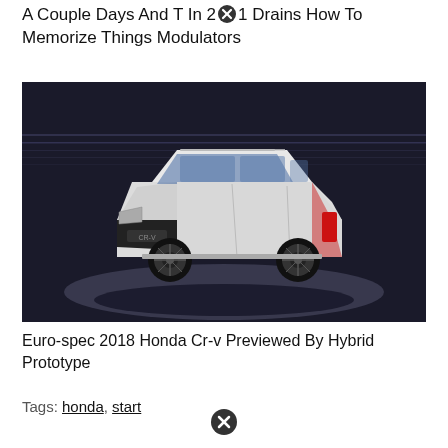A Couple Days And T In 2021 Drains How To Memorize Things Modulators
[Figure (photo): White Honda CR-V SUV photographed in a dark studio with dramatic lighting and horizontal light streaks in background, viewed from front-left angle]
Euro-spec 2018 Honda Cr-v Previewed By Hybrid Prototype
Tags: honda, start